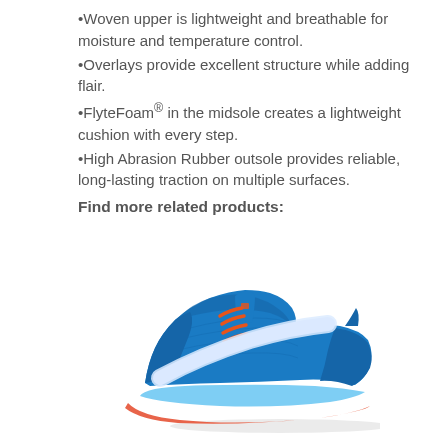•Woven upper is lightweight and breathable for moisture and temperature control.
•Overlays provide excellent structure while adding flair.
•FlyteFoam® in the midsole creates a lightweight cushion with every step.
•High Abrasion Rubber outsole provides reliable, long-lasting traction on multiple surfaces.
Find more related products:
[Figure (photo): Blue ASICS running shoe with orange laces, white midsole with light blue accent stripe, and coral/red outsole, viewed from the side at a slight angle.]